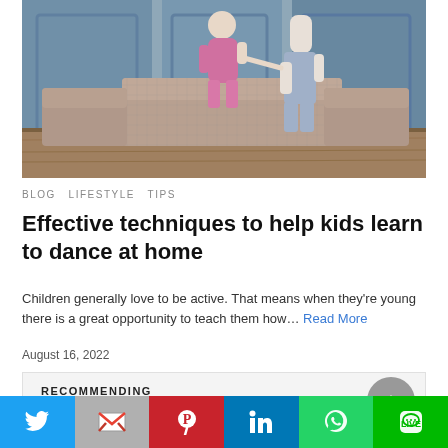[Figure (photo): A child in a pink dinosaur onesie dancing while holding hands with an adult in a living room with plaid sofas and blue paneled walls]
BLOG  LIFESTYLE  TIPS
Effective techniques to help kids learn to dance at home
Children generally love to be active. That means when they're young there is a great opportunity to teach them how… Read More
August 16, 2022
RECOMMENDING
[Figure (other): Social media share bar with Twitter, Gmail, Pinterest, LinkedIn, WhatsApp, and LINE buttons]